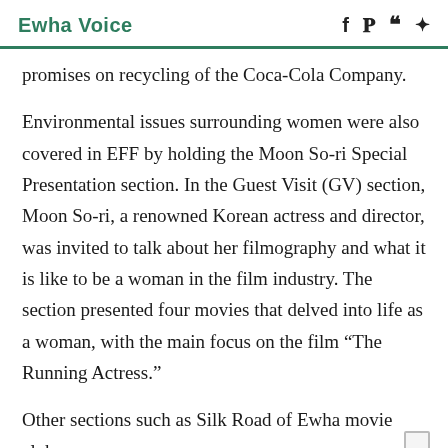Ewha Voice
promises on recycling of the Coca-Cola Company.
Environmental issues surrounding women were also covered in EFF by holding the Moon So-ri Special Presentation section. In the Guest Visit (GV) section, Moon So-ri, a renowned Korean actress and director, was invited to talk about her filmography and what it is like to be a woman in the film industry. The section presented four movies that delved into life as a woman, with the main focus on the film “The Running Actress.”
Other sections such as Silk Road of Ewha movie club